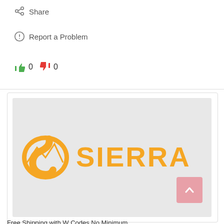Share
Report a Problem
0  0
[Figure (logo): Sierra brand logo — orange stylized mountain/road mark on the left and the word SIERRA in bold orange capital letters on a light gray background]
Free Shipping with W Codes No Minimum